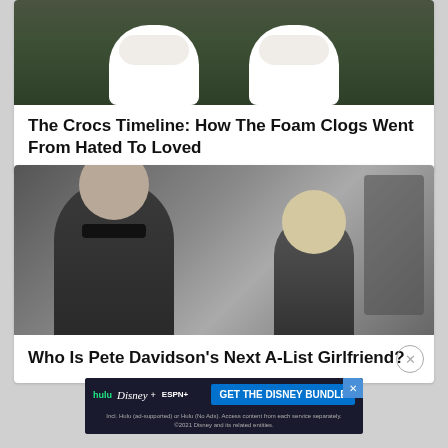[Figure (photo): Overhead view of white Crocs shoes on a dark surface]
The Crocs Timeline: How The Foam Clogs Went From Hated To Loved
[Figure (photo): Pete Davidson wearing sunglasses at a red carpet event with a blonde woman]
Who Is Pete Davidson's Next A-List Girlfriend?
[Figure (other): Disney Bundle advertisement with Hulu, Disney+, and ESPN+ logos. Text: GET THE DISNEY BUNDLE. Incl. Hulu (ad-supported) or Hulu (No Ads). Access content from each service separately. ©2021 Disney and its related entities.]